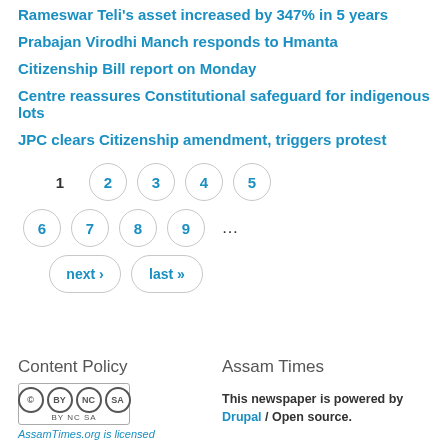Rameswar Teli's asset increased by 347% in 5 years
Prabajan Virodhi Manch responds to Hmanta
Citizenship Bill report on Monday
Centre reassures Constitutional safeguard for indigenous lots
JPC clears Citizenship amendment, triggers protest
[Figure (other): Pagination navigation: pages 1 through 9 with next and last buttons]
Content Policy
[Figure (logo): Creative Commons BY NC SA license badge]
AssamTimes.org is licensed
Assam Times
This newspaper is powered by Drupal / Open source.